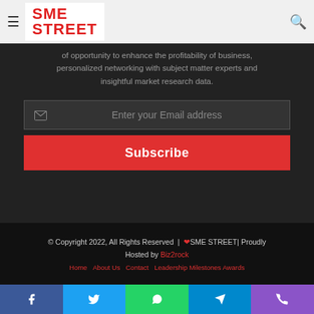SME STREET — navigation bar with logo, hamburger menu, and search icon
of opportunity to enhance the profitability of business, personalized networking with subject matter experts and insightful market research data.
Enter your Email address
Subscribe
© Copyright 2022, All Rights Reserved | ❤ SME STREET| Proudly Hosted by Biz2rock
Home   About Us   Contact   Leadership Milestones Awards
[Figure (infographic): Social media share bar with Facebook, Twitter, WhatsApp, Telegram, Phone icons]